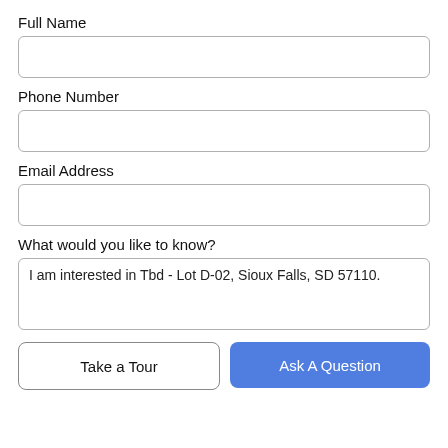Full Name
[Figure (other): Empty text input box for Full Name]
Phone Number
[Figure (other): Empty text input box for Phone Number]
Email Address
[Figure (other): Empty text input box for Email Address]
What would you like to know?
I am interested in Tbd - Lot D-02, Sioux Falls, SD 57110.
Take a Tour
Ask A Question